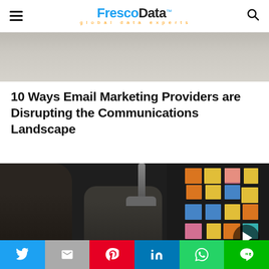FrescoData™ — global data experts (navigation bar with hamburger menu and search icon)
[Figure (photo): Partial top image showing a blurred office/meeting environment, cropped at the top of the page]
10 Ways Email Marketing Providers are Disrupting the Communications Landscape
[Figure (photo): Team meeting photo: two people in foreground in a dark room, one person center with glasses, colorful sticky notes (yellow, orange, blue, pink, teal) on a dark wall in the background. A play button triangle icon in the bottom right corner.]
Social share bar: Twitter, Email, Pinterest, LinkedIn, WhatsApp, Line